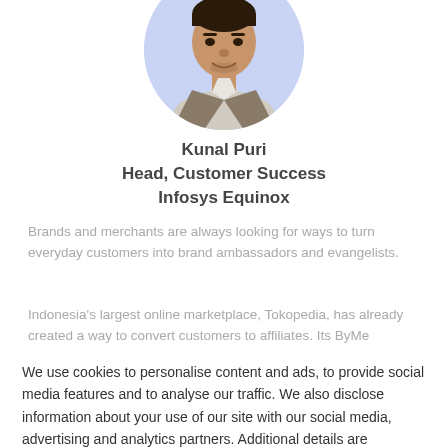[Figure (photo): Circular profile photo of Kunal Puri, a man in business casual attire, against a light blue/lavender background.]
Kunal Puri
Head, Customer Success
Infosys Equinox
Brands and merchants are always looking for ways to turn everyday customers into brand ambassadors and evangelists.
Indonesia's largest online marketplace, Tokopedia, has already created a way to convert customers to affiliates. Its ByMe
We use cookies to personalise content and ads, to provide social media features and to analyse our traffic. We also disclose information about your use of our site with our social media, advertising and analytics partners. Additional details are available in our Cookie Policy